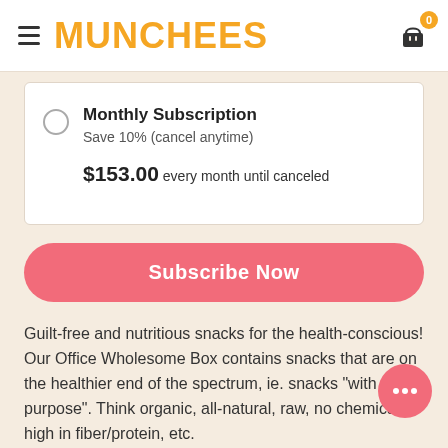MUNCHEES
Monthly Subscription
Save 10% (cancel anytime)
$153.00 every month until canceled
Subscribe Now
Guilt-free and nutritious snacks for the health-conscious! Our Office Wholesome Box contains snacks that are on the healthier end of the spectrum, ie. snacks "with a purpose". Think organic, all-natural, raw, no chemicals, high in fiber/protein, etc.